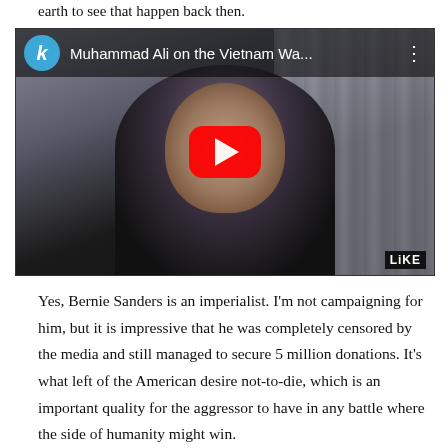earth to see that happen back then.
[Figure (screenshot): Embedded YouTube video thumbnail showing a man (Muhammad Ali) speaking, with a blue 'k' avatar circle, title 'Muhammad Ali on the Vietnam Wa...', three-dots menu, red YouTube play button in center, and 'LiKE' watermark in bottom right corner.]
Yes, Bernie Sanders is an imperialist. I'm not campaigning for him, but it is impressive that he was completely censored by the media and still managed to secure 5 million donations. It's what left of the American desire not-to-die, which is an important quality for the aggressor to have in any battle where the side of humanity might win.